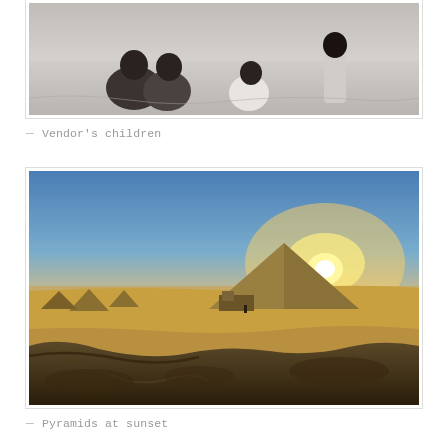[Figure (photo): Black and white photo of children (vendor's children) sitting and standing on sand]
— Vendor's children
[Figure (photo): Color photo of ancient pyramids in desert at sunset with dramatic rocky foreground]
— Pyramids at sunset